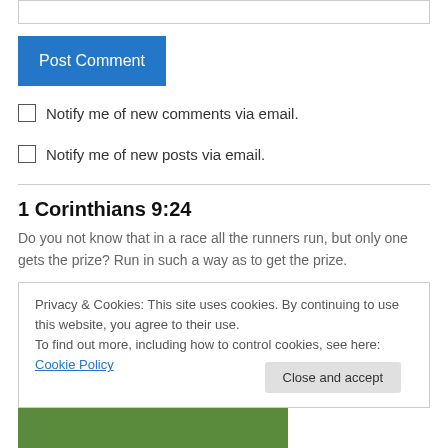[Figure (screenshot): Input text box (top of page)]
Post Comment
Notify me of new comments via email.
Notify me of new posts via email.
1 Corinthians 9:24
Do you not know that in a race all the runners run, but only one gets the prize? Run in such a way as to get the prize.
Privacy & Cookies: This site uses cookies. By continuing to use this website, you agree to their use.
To find out more, including how to control cookies, see here: Cookie Policy
Close and accept
[Figure (photo): Partial photo of a person's face at bottom of page]